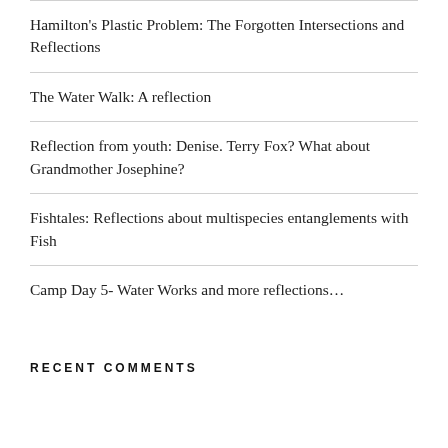Hamilton's Plastic Problem: The Forgotten Intersections and Reflections
The Water Walk: A reflection
Reflection from youth: Denise. Terry Fox? What about Grandmother Josephine?
Fishtales: Reflections about multispecies entanglements with Fish
Camp Day 5- Water Works and more reflections…
RECENT COMMENTS
ARCHIVES